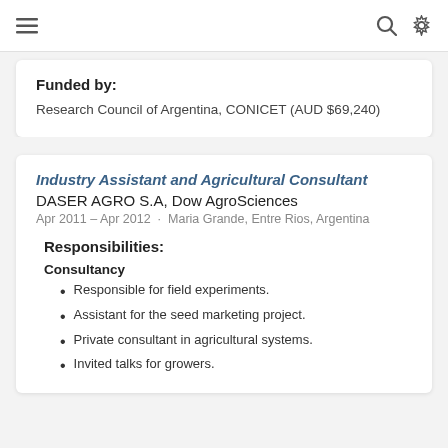≡   🔍 ⚙
Funded by:
Research Council of Argentina, CONICET (AUD $69,240)
Industry Assistant and Agricultural Consultant
DASER AGRO S.A, Dow AgroSciences
Apr 2011 – Apr 2012  ·  Maria Grande, Entre Rios, Argentina
Responsibilities:
Consultancy
Responsible for field experiments.
Assistant for the seed marketing project.
Private consultant in agricultural systems.
Invited talks for growers.